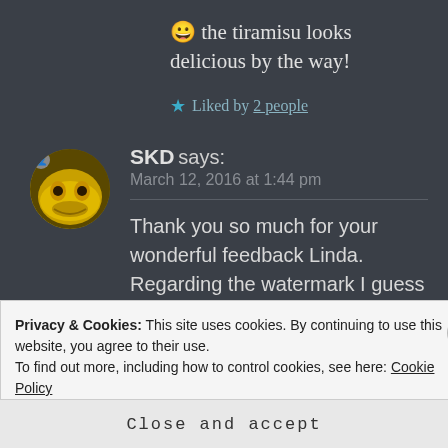😀 the tiramisu looks delicious by the way!
★ Liked by 2 people
SKD says: March 12, 2016 at 1:44 pm
Thank you so much for your wonderful feedback Linda. Regarding the watermark I guess it is always the
Privacy & Cookies: This site uses cookies. By continuing to use this website, you agree to their use. To find out more, including how to control cookies, see here: Cookie Policy
Close and accept